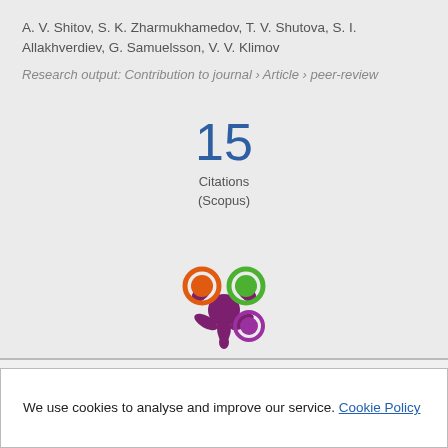A. V. Shitov, S. K. Zharmukhamedov, T. V. Shutova, S. I. Allakhverdiev, G. Samuelsson, V. V. Klimov
Research output: Contribution to journal › Article › peer-review
[Figure (infographic): Citation count badge showing 15 Citations (Scopus)]
[Figure (logo): Altmetric/Pure logo — colorful splat with orange, green, and purple circles on dark purple starburst shape]
We use cookies to analyse and improve our service. Cookie Policy